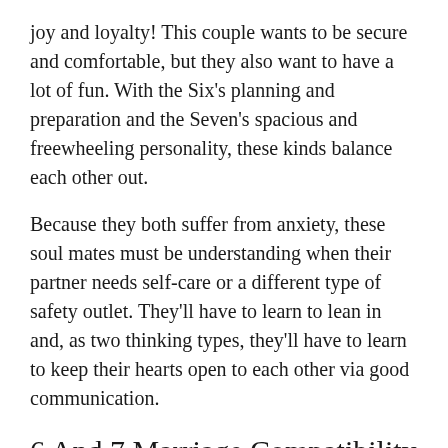joy and loyalty! This couple wants to be secure and comfortable, but they also want to have a lot of fun. With the Six's planning and preparation and the Seven's spacious and freewheeling personality, these kinds balance each other out.
Because they both suffer from anxiety, these soul mates must be understanding when their partner needs self-care or a different type of safety outlet. They'll have to learn to lean in and, as two thinking types, they'll have to learn to keep their hearts open to each other via good communication.
6 And 7 Marriage Compatibility Good Or Bad
Love, tenderness, caring, and humility are all related to